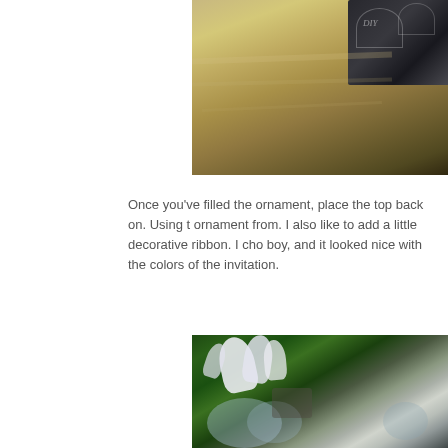[Figure (photo): Close-up photo of a dark metallic ornament with decorative writing on a wooden surface background]
Once you've filled the ornament, place the top back on. Using t ornament from. I also like to add a little decorative ribbon. I cho boy, and it looked nice with the colors of the invitation.
[Figure (photo): Photo of a clear glass ornament with white ribbon decoration against a green pine needle background]